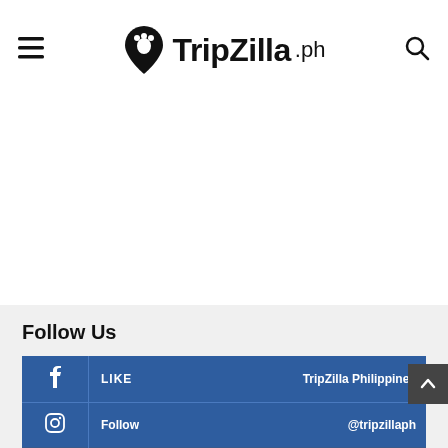TripZilla.ph
Follow Us
| Icon | Action | Account |
| --- | --- | --- |
| f | LIKE | TripZilla Philippines |
| instagram | Follow | @tripzillaph |